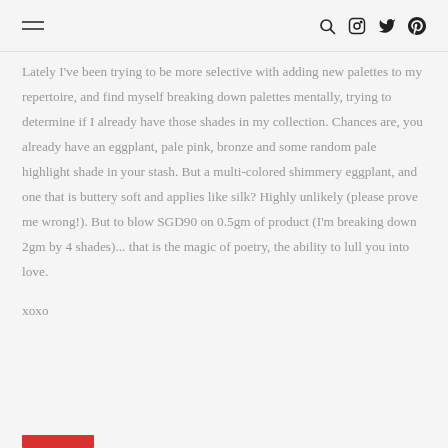≡  🔍 ◎ 𝕏 𝓟
Lately I've been trying to be more selective with adding new palettes to my repertoire, and find myself breaking down palettes mentally, trying to determine if I already have those shades in my collection. Chances are, you already have an eggplant, pale pink, bronze and some random pale highlight shade in your stash. But a multi-colored shimmery eggplant, and one that is buttery soft and applies like silk? Highly unlikely (please prove me wrong!). But to blow SGD90 on 0.5gm of product (I'm breaking down 2gm by 4 shades)... that is the magic of poetry, the ability to lull you into love.
xoxo